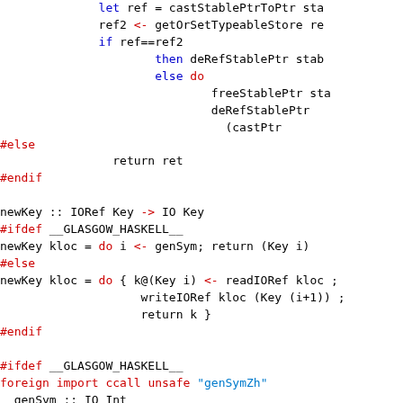Haskell source code showing key generation functions with preprocessor directives (#ifdef, #else, #endif), foreign import declarations, and mkTyConKey implementation